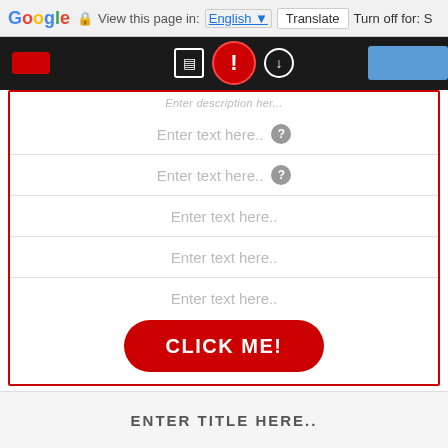Google  View this page in: English [Translate] Turn off for: S
[Figure (screenshot): Dark navigation bar with red rectangle, two nav icons, red circle with exclamation/info icon, and blue button]
Enter description her...
Enter text here..
Enter text here..
Enter text here..
Enter text here..
Enter text here..
CLICK ME!
ENTER TITLE HERE..